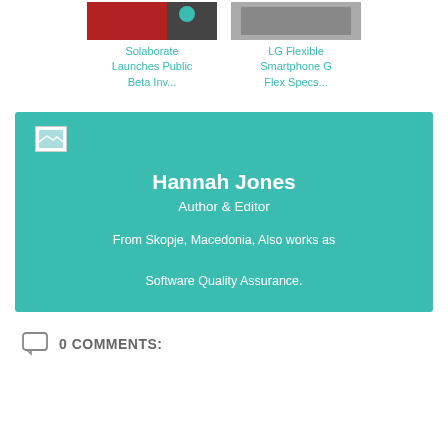[Figure (screenshot): Two article card thumbnails at top of page]
Solaborate Launches Public Beta Inv...
LG Flexible Smartphone G Flex Specs...
[Figure (illustration): Teal author profile box with small avatar image placeholder]
Hannah Jones
Author & Editor
From Skopje, Macedonia, Also works as Software Quality Assurance.
0 COMMENTS: